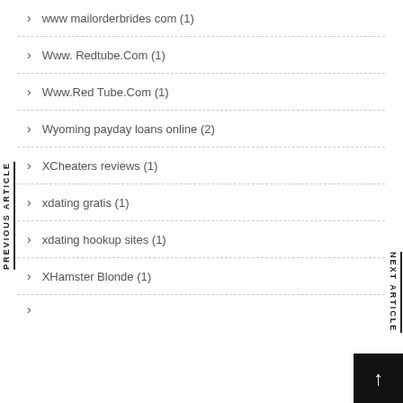www mailorderbrides com (1)
Www. Redtube.Com (1)
Www.Red Tube.Com (1)
Wyoming payday loans online (2)
XCheaters reviews (1)
xdating gratis (1)
xdating hookup sites (1)
XHamster Blonde (1)